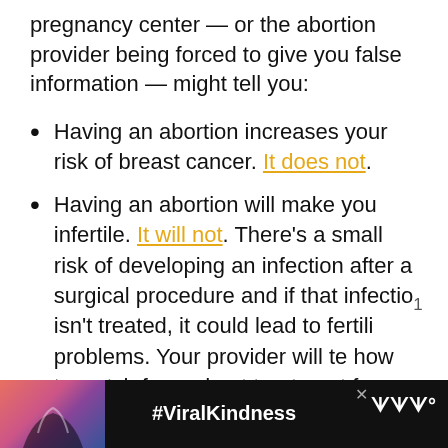pregnancy center — or the abortion provider being forced to give you false information — might tell you:
Having an abortion increases your risk of breast cancer. It does not.
Having an abortion will make you infertile. It will not. There's a small risk of developing an infection after a surgical procedure and if that infection isn't treated, it could lead to fertility problems. Your provider will tell you how to watch for and get treatment for
[Figure (screenshot): UI overlay elements: heart/like button (blue circle), share button (blue circle), count '1', 'What's Next' card showing 'How Witchcraft...' article preview]
[Figure (screenshot): Ad footer with dark background, silhouette of hands making heart shape, #ViralKindness hashtag in white text, close X button, and logo]